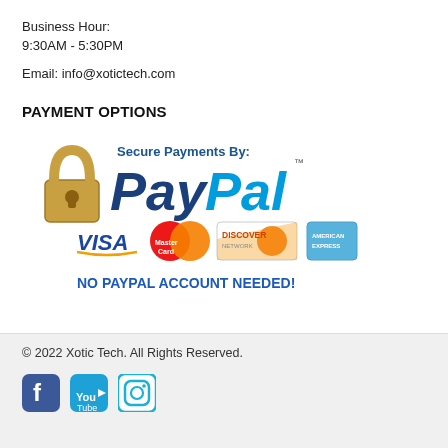Business Hour:
9:30AM - 5:30PM
Email: info@xotictech.com
PAYMENT OPTIONS
[Figure (logo): PayPal Secure Payments badge with lock icon, VISA, MasterCard, Discover, American Express logos and text NO PAYPAL ACCOUNT NEEDED!]
© 2022 Xotic Tech. All Rights Reserved.
[Figure (logo): Social media icons: Facebook, YouTube, Instagram]